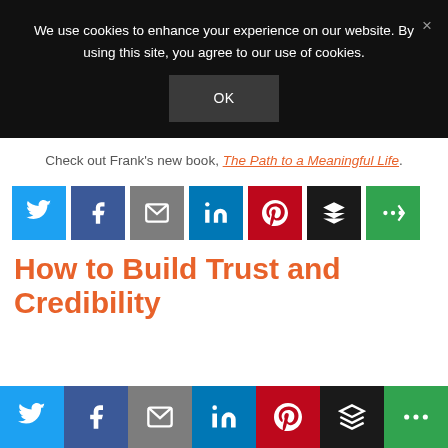We use cookies to enhance your experience on our website. By using this site, you agree to our use of cookies. OK ×
Check out Frank's new book, The Path to a Meaningful Life.
[Figure (other): Social share buttons row: Twitter (blue), Facebook (dark blue), Email (gray), LinkedIn (blue), Pinterest (red), Buffer (dark/black), More (green)]
How to Build Trust and Credibility
[Figure (other): Bottom sticky social share bar: Twitter, Facebook, Email, LinkedIn, Pinterest, Buffer, More]